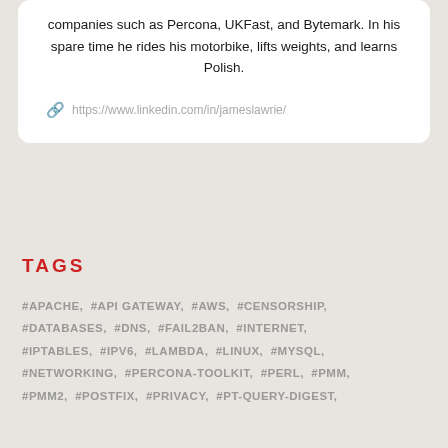companies such as Percona, UKFast, and Bytemark. In his spare time he rides his motorbike, lifts weights, and learns Polish.
https://www.linkedin.com/in/jameslawrie/
TAGS
#APACHE, #API GATEWAY, #AWS, #CENSORSHIP, #DATABASES, #DNS, #FAIL2BAN, #INTERNET, #IPTABLES, #IPV6, #LAMBDA, #LINUX, #MYSQL, #NETWORKING, #PERCONA-TOOLKIT, #PERL, #PMM, #PMM2, #POSTFIX, #PRIVACY, #PT-QUERY-DIGEST,